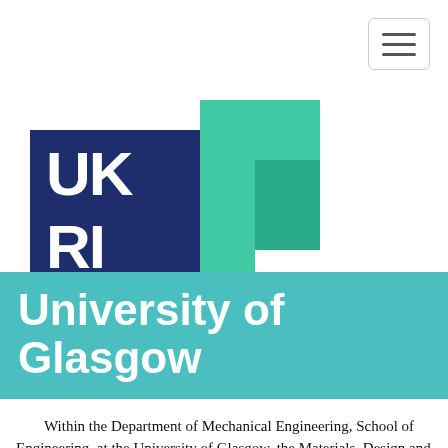[Figure (logo): UKRI logo — dark navy blue square with white bold text 'UK' and 'RI', overlaid with a teal/mint L-shaped bracket and a separate teal rectangle to the right]
University of Glasgow
Within the Department of Mechanical Engineering, School of Engineering, at the University of Glasgow, the Materials, Design and Manufacturing research team focuses on the use of numerical computation in understanding and optimising both material properties and design